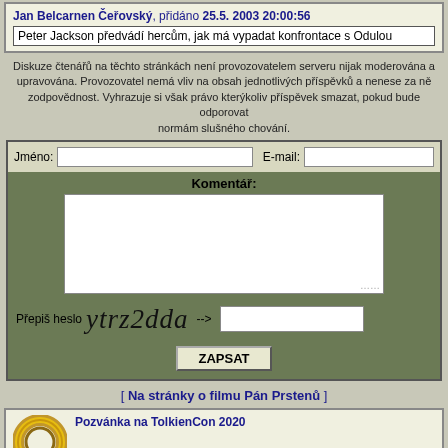Jan Belcarnen Čeřovský, přidáno 25.5. 2003 20:00:56
Peter Jackson předvádí hercům, jak má vypadat konfrontace s Odulou
Diskuze čtenářů na těchto stránkách není provozovatelem serveru nijak moderována a upravována. Provozovatel nemá vliv na obsah jednotlivých příspěvků a nenese za ně zodpovědnost. Vyhrazuje si však právo kterýkoliv příspěvek smazat, pokud bude odporovat normám slušného chování.
Jméno: [input] E-mail: [input]
Komentář:
Přepiš heslo ytrz2dda --> [input]
ZAPSAT
[ Na stránky o filmu Pán Prstenů ]
Pozvánka na TolkienCon 2020
Dne 4.11.2019 napsal Belcarnen, celkem komentářů: 21